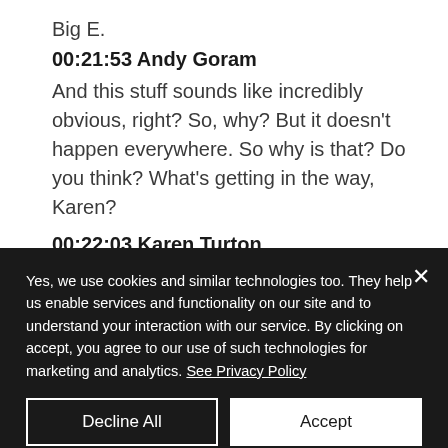Big E.
00:21:53 Andy Goram
And this stuff sounds like incredibly obvious, right? So, why? But it doesn't happen everywhere. So why is that? Do you think? What's getting in the way, Karen?
00:22:03 Karen Turton
I think the honest answer is, I don't
Yes, we use cookies and similar technologies too. They help us enable services and functionality on our site and to understand your interaction with our service. By clicking on accept, you agree to our use of such technologies for marketing and analytics. See Privacy Policy
Decline All
Accept
Cookie Settings